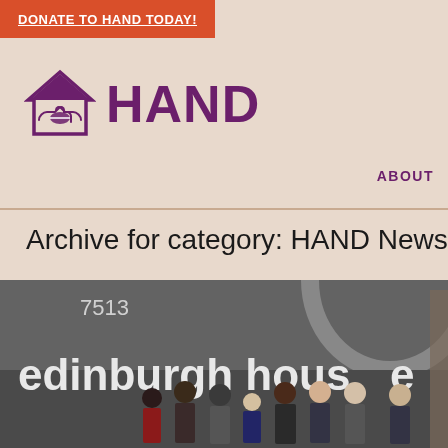DONATE TO HAND TODAY!
[Figure (logo): HAND organization logo with house icon containing handshake, purple text HAND]
ABOUT
Archive for category: HAND News
[Figure (photo): Group of people standing in front of Edinburgh House building exterior with address 7513, grey brick wall]